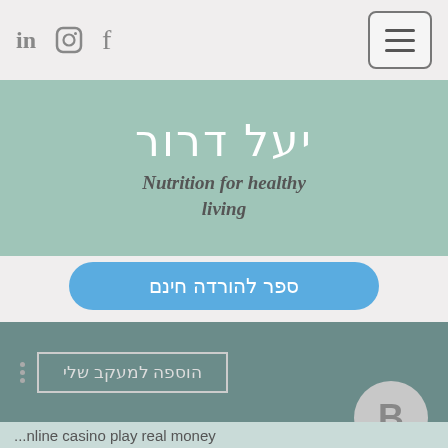in  ⊙  f  [hamburger menu]
יעל דרור
Nutrition for healthy living
ספר להורדה חינם
הוספה למעקב שלי
B
...nline casino play real money